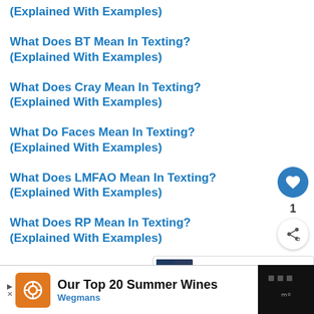(Explained With Examples)
What Does BT Mean In Texting? (Explained With Examples)
What Does Cray Mean In Texting? (Explained With Examples)
What Do Faces Mean In Texting? (Explained With Examples)
What Does LMFAO Mean In Texting? (Explained With Examples)
What Does RP Mean In Texting? (Explained With Examples)
[Figure (infographic): Heart/like button (blue circle with heart icon), like count '1', and share button (white circle with share icon) floating on right side]
[Figure (infographic): WHAT'S NEXT panel with thumbnail image and text '30+ Slang Words for...']
[Figure (screenshot): Advertisement banner: 'Our Top 20 Summer Wines' by Wegmans with orange logo icon and blue navigation icon]